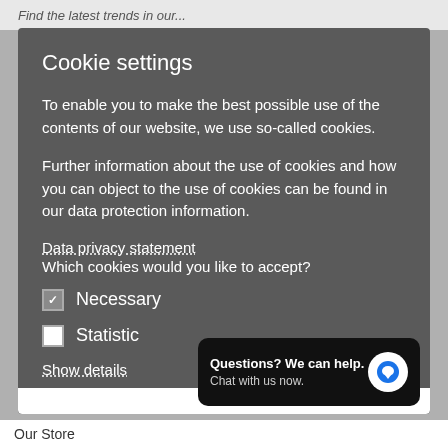Find the latest trends in our...
Cookie settings
To enable you to make the best possible use of the contents of our website, we use so-called cookies.
Further information about the use of cookies and how you can object to the use of cookies can be found in our data protection information.
Data privacy statement
Which cookies would you like to accept?
Necessary
Statistic
Show details
[Figure (other): Chat widget: 'Questions? We can help. Chat with us now.' with blue speech bubble icon]
Our Store